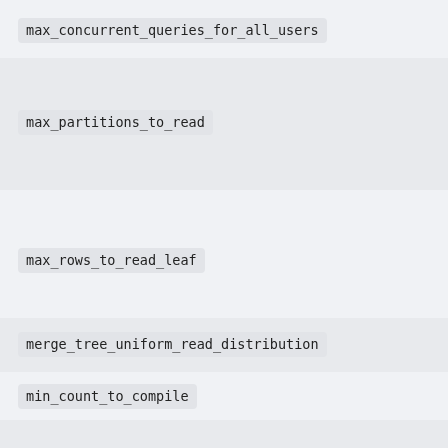max_concurrent_queries_for_all_users
max_partitions_to_read
max_rows_to_read_leaf
merge_tree_uniform_read_distribution
min_count_to_compile